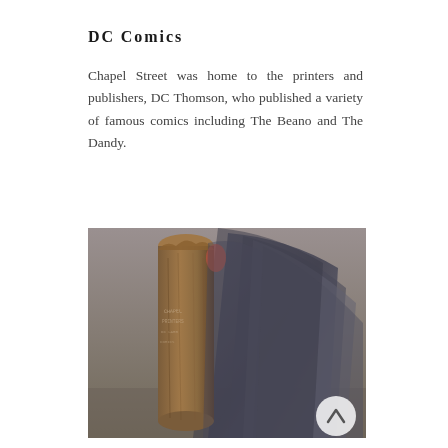DC Comics
Chapel Street was home to the printers and publishers, DC Thomson, who published a variety of famous comics including The Beano and The Dandy.
[Figure (photo): Close-up photograph of aged, weathered rolled-up comic books or printed papers showing worn edges and faded text, dark metallic-toned pages visible alongside the brown aged roll.]